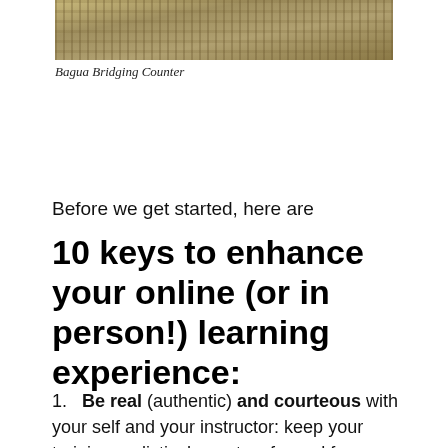[Figure (photo): Outdoor rocky ground scene, Bagua Bridging Counter martial arts technique photo]
Bagua Bridging Counter
Before we get started, here are
10 keys to enhance your online (or in person!) learning experience:
Be real (authentic) and courteous with your self and your instructor: keep your training realistic, honest, safe, and fun